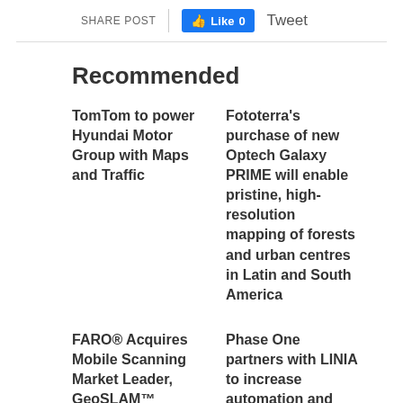SHARE POST | Like 0 | Tweet
Recommended
TomTom to power Hyundai Motor Group with Maps and Traffic
Fototerra's purchase of new Optech Galaxy PRIME will enable pristine, high-resolution mapping of forests and urban centres in Latin and South America
FARO® Acquires Mobile Scanning Market Leader, GeoSLAM™
Phase One partners with LINIA to increase automation and